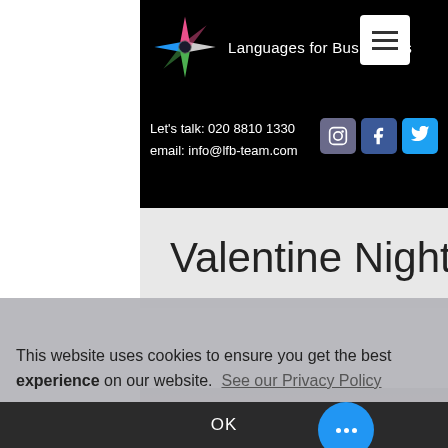[Figure (logo): Compass star logo with colorful points (pink, blue, green) and text 'Languages for Businesses']
Let's talk: 020 8810 1330
email: info@lfb-team.com
[Figure (screenshot): Social media icons: Instagram, Facebook, Twitter]
Valentine Nightmare
This website uses cookies to ensure you get the best experience on our website.  See our Privacy Policy
OK